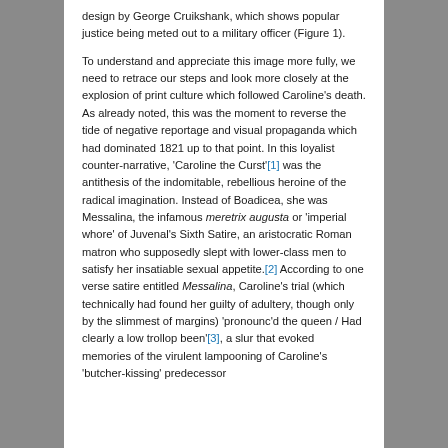design by George Cruikshank, which shows popular justice being meted out to a military officer (Figure 1).
To understand and appreciate this image more fully, we need to retrace our steps and look more closely at the explosion of print culture which followed Caroline's death. As already noted, this was the moment to reverse the tide of negative reportage and visual propaganda which had dominated 1821 up to that point. In this loyalist counter-narrative, 'Caroline the Curst'[1] was the antithesis of the indomitable, rebellious heroine of the radical imagination. Instead of Boadicea, she was Messalina, the infamous meretrix augusta or 'imperial whore' of Juvenal's Sixth Satire, an aristocratic Roman matron who supposedly slept with lower-class men to satisfy her insatiable sexual appetite.[2] According to one verse satire entitled Messalina, Caroline's trial (which technically had found her guilty of adultery, though only by the slimmest of margins) 'pronounc'd the queen / Had clearly a low trollop been'[3], a slur that evoked memories of the virulent lampooning of Caroline's 'butcher-kissing' predecessor